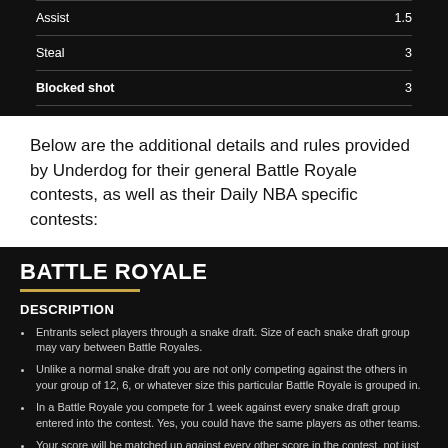| Stat | Points |
| --- | --- |
| Assist | 1.5 |
| Steal | 3 |
| Blocked shot | 3 |
Below are the additional details and rules provided by Underdog for their general Battle Royale contests, as well as their Daily NBA specific contests:
BATTLE ROYALE
DESCRIPTION
Entrants select players through a snake draft. Size of each snake draft group may vary between Battle Royales.
Unlike a normal snake draft you are not only competing against the others in your group of 12, 6, or whatever size this particular Battle Royale is grouped in.
In a Battle Royale you compete for 1 week against every snake draft group entered into the contest. Yes, you could have the same players as other teams.
Your score will be matched up against every other score in the contest, not just the participants in your particular group.